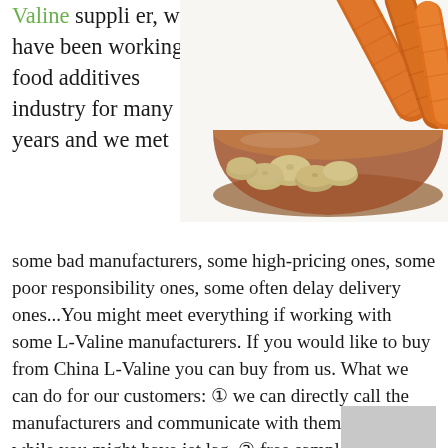Valine supplier, we have been working in food additives industry for many years and we met some bad manufacturers, some high-pricing ones, some poor responsibility ones, some often delay delivery ones...You might meet everything if working with some L-Valine manufacturers. If you would like to buy from China L-Valine you can buy from us. What we can do for our customers: ① we can directly call the manufacturers and communicate with them efficiency while you might have jet lag. ② free samples are available. ③we can have the purchasing
[Figure (photo): Bowl of vegetables including potatoes and carrots on a white background]